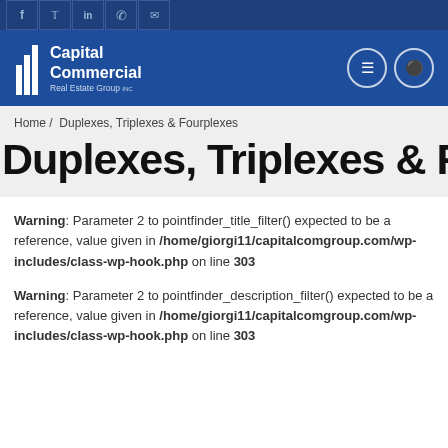Capital Commercial Real Estate Group
Home / Duplexes, Triplexes & Fourplexes
Duplexes, Triplexes & Fourplexes
Warning: Parameter 2 to pointfinder_title_filter() expected to be a reference, value given in /home/giorgi11/capitalcomgroup.com/wp-includes/class-wp-hook.php on line 303
Warning: Parameter 2 to pointfinder_description_filter() expected to be a reference, value given in /home/giorgi11/capitalcomgroup.com/wp-includes/class-wp-hook.php on line 303